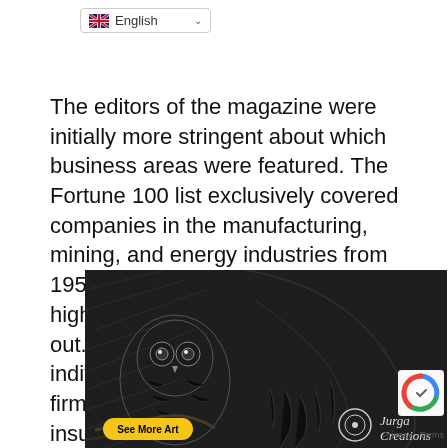English
The editors of the magazine were initially more stringent about which business areas were featured. The Fortune 100 list exclusively covered companies in the manufacturing, mining, and energy industries from 1955 to 1994. Many of the country's highest-earning companies were left out. Fortune did, however, produce individual sector lists for the top 50 firms in the banking, utilities, insur[ance], indus[tries]
[Figure (illustration): Advertisement overlay showing a detailed pencil drawing of an owl perched near a bearded man's face, with 'See More Art' button and 'Jurga Creations' branding]